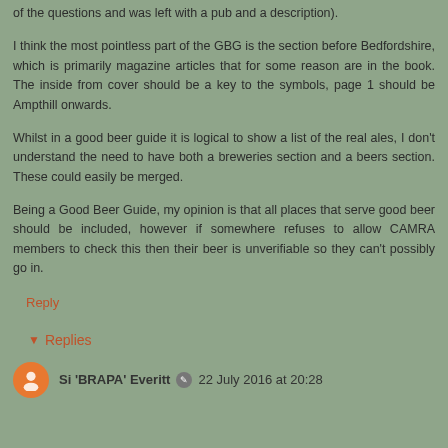of the questions and was left with a pub and a description).
I think the most pointless part of the GBG is the section before Bedfordshire, which is primarily magazine articles that for some reason are in the book. The inside from cover should be a key to the symbols, page 1 should be Ampthill onwards.
Whilst in a good beer guide it is logical to show a list of the real ales, I don't understand the need to have both a breweries section and a beers section. These could easily be merged.
Being a Good Beer Guide, my opinion is that all places that serve good beer should be included, however if somewhere refuses to allow CAMRA members to check this then their beer is unverifiable so they can't possibly go in.
Reply
Replies
Si 'BRAPA' Everitt  22 July 2016 at 20:28